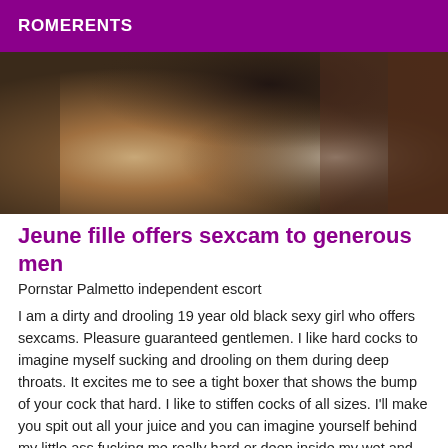ROMERENTS
[Figure (photo): A photograph showing a person in close-up, dimly lit setting]
Jeune fille offers sexcam to generous men
Pornstar Palmetto independent escort
I am a dirty and drooling 19 year old black sexy girl who offers sexcams. Pleasure guaranteed gentlemen. I like hard cocks to imagine myself sucking and drooling on them during deep throats. It excites me to see a tight boxer that shows the bump of your cock that hard. I like to stiffen cocks of all sizes. I'll make you spit out all your juice and you can imagine yourself behind my little ass fucking me really hard or deep inside my wet and hot